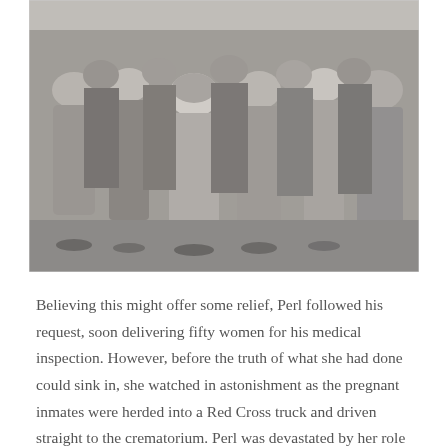[Figure (photo): Black and white historical photograph showing a large group of women in headscarves and plain dresses, crowded together, appearing distressed. The image is consistent with Holocaust-era documentation photography.]
Believing this might offer some relief, Perl followed his request, soon delivering fifty women for his medical inspection. However, before the truth of what she had done could sink in, she watched in astonishment as the pregnant inmates were herded into a Red Cross truck and driven straight to the crematorium. Perl was devastated by her role as the unwilling pawn in Mengele's cruel scheme, after she had worked with guilt...